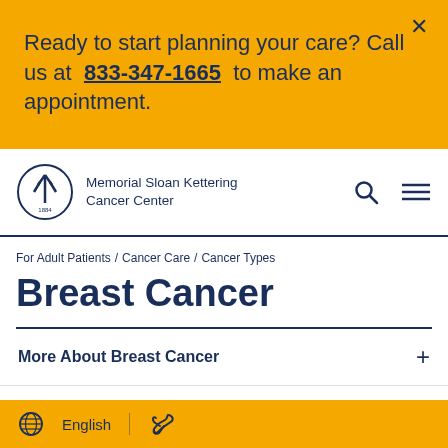Ready to start planning your care? Call us at 833-347-1665 to make an appointment.
[Figure (logo): Memorial Sloan Kettering Cancer Center logo — circular emblem with stylized tree/arrow and '1884' text]
Memorial Sloan Kettering Cancer Center
For Adult Patients / Cancer Care / Cancer Types
Breast Cancer
More About Breast Cancer
English